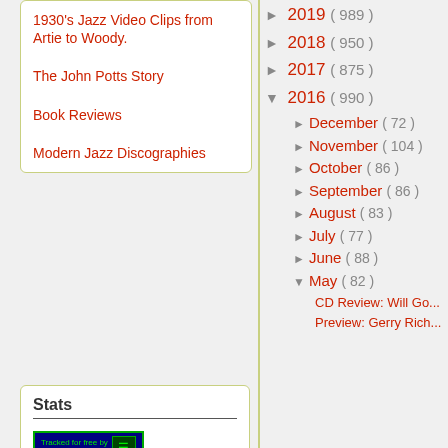1930's Jazz Video Clips from Artie to Woody.
The John Potts Story
Book Reviews
Modern Jazz Discographies
Stats
[Figure (other): StatCounter tracking badge - blue background with green border, showing 'Tracked for free by statcounter.com' with icon]
► 2019 ( 989 )
► 2018 ( 950 )
► 2017 ( 875 )
▼ 2016 ( 990 )
► December ( 72 )
► November ( 104 )
► October ( 86 )
► September ( 86 )
► August ( 83 )
► July ( 77 )
► June ( 88 )
▼ May ( 82 )
CD Review: Will Go...
Preview: Gerry Rich...